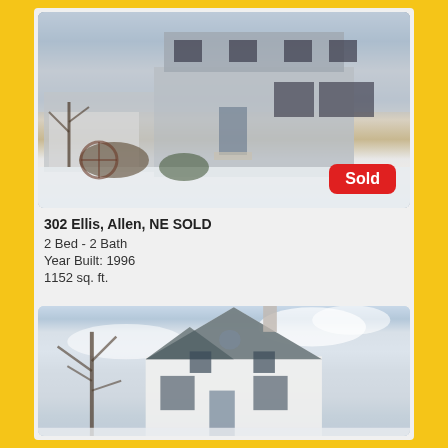[Figure (photo): Exterior photo of a two-story grey vinyl-sided house in winter with snow on the ground, bare trees, an attached garage on the left, and a red 'Sold' badge in the lower right corner.]
302 Ellis, Allen, NE SOLD
2 Bed - 2 Bath
Year Built: 1996
1152 sq. ft.
[Figure (photo): Exterior photo of a white two-story house with a steep gabled roof, brick lower level, bare trees to the left, and a partly cloudy blue sky in winter.]